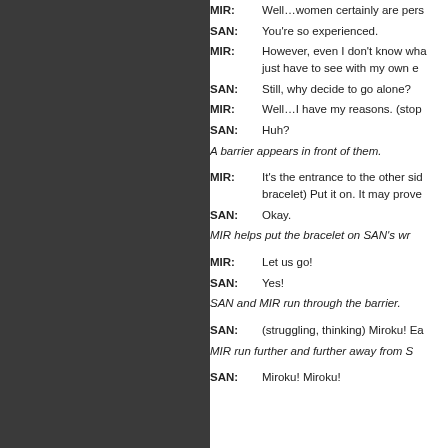MIR: Well…women certainly are pers
SAN: You're so experienced.
MIR: However, even I don't know wha just have to see with my own e
SAN: Still, why decide to go alone?
MIR: Well…I have my reasons. (stop
SAN: Huh?
A barrier appears in front of them.
MIR: It's the entrance to the other sid bracelet) Put it on. It may prove
SAN: Okay.
MIR helps put the bracelet on SAN's wr
MIR: Let us go!
SAN: Yes!
SAN and MIR run through the barrier.
SAN: (struggling, thinking) Miroku! Ea
MIR run further and further away from S
SAN: Miroku! Miroku!